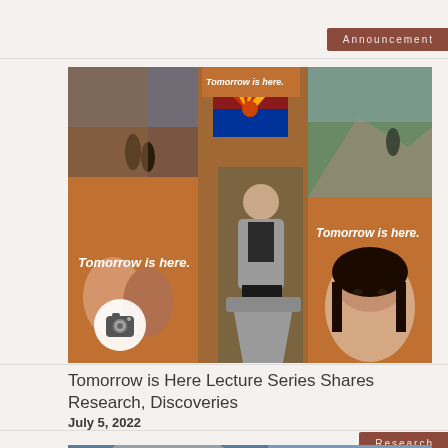Announcement
[Figure (photo): Event photo showing display banners with 'Tomorrow is here.' text, an Arizona flag, outdoor landscape photos, and a speaker at a podium. Multiple roll-up banners are visible featuring diverse people and outdoor scenes. A camera icon overlay appears at the bottom left.]
Tomorrow is Here Lecture Series Shares Research, Discoveries
July 5, 2022
Research
[Figure (photo): Partial bottom strip showing a person, likely the beginning of another article image.]